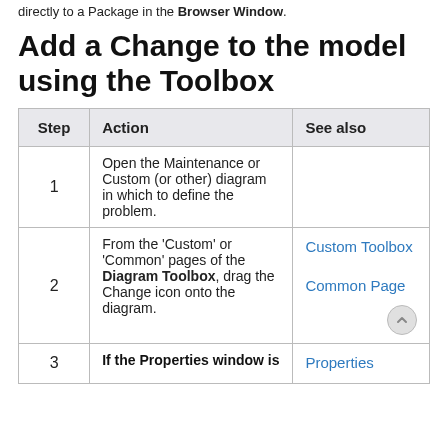directly to a Package in the Browser Window.
Add a Change to the model using the Toolbox
| Step | Action | See also |
| --- | --- | --- |
| 1 | Open the Maintenance or Custom (or other) diagram in which to define the problem. |  |
| 2 | From the 'Custom' or 'Common' pages of the Diagram Toolbox, drag the Change icon onto the diagram. | Custom Toolbox

Common Page |
| 3 | If the Properties window is | Properties |